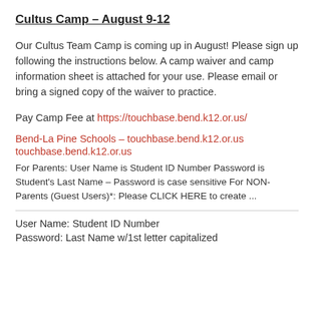Cultus Camp – August 9-12
Our Cultus Team Camp is coming up in August!  Please sign up following the instructions below.  A camp waiver and camp information sheet is attached for your use.  Please email or bring a signed copy of the waiver to practice.
Pay Camp Fee at https://touchbase.bend.k12.or.us/
Bend-La Pine Schools – touchbase.bend.k12.or.us
touchbase.bend.k12.or.us
For Parents: User Name is Student ID Number Password is Student's Last Name – Password is case sensitive For NON-Parents (Guest Users)*: Please CLICK HERE to create ...
User Name: Student ID Number
Password: Last Name w/1st letter capitalized